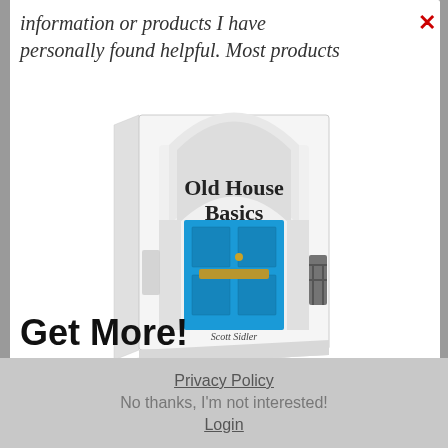information or products I have personally found helpful. Most products
[Figure (illustration): Book cover of 'Old House Basics' by Scott Sidler, showing a white arched doorway with a bright blue door]
Get More!
Join the Craftsman Insiders
Privacy Policy | No thanks, I'm not interested! | Login